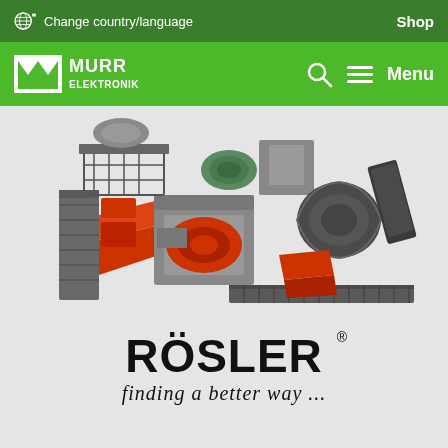Change country/language    Shop
[Figure (logo): Murr Elektronik logo - white M symbol with text MURR ELEKTRONIK on green background]
[Figure (engineering-diagram): 3D isometric rendering of industrial machinery - Rosler surface finishing / shot blasting machine with orange and grey components including conveyor, blast wheel, and separator]
[Figure (logo): Rosler logo - black bold text ROSLER with registered trademark, tagline 'finding a better way ...' in italic script]